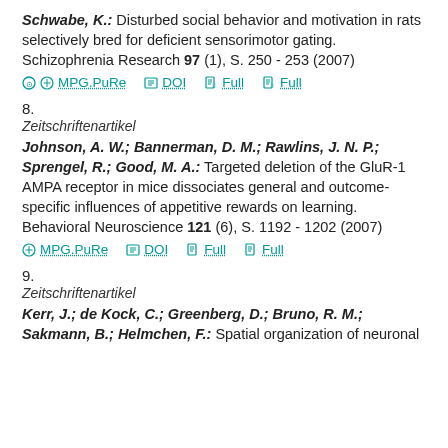Schwabe, K.: Disturbed social behavior and motivation in rats selectively bred for deficient sensorimotor gating. Schizophrenia Research 97 (1), S. 250 - 253 (2007)
MPG.PuRe  DOI  Full  Full
8.
Zeitschriftenartikel
Johnson, A. W.; Bannerman, D. M.; Rawlins, J. N. P.; Sprengel, R.; Good, M. A.: Targeted deletion of the GluR-1 AMPA receptor in mice dissociates general and outcome-specific influences of appetitive rewards on learning. Behavioral Neuroscience 121 (6), S. 1192 - 1202 (2007)
MPG.PuRe  DOI  Full  Full
9.
Zeitschriftenartikel
Kerr, J.; de Kock, C.; Greenberg, D.; Bruno, R. M.; Sakmann, B.; Helmchen, F.: Spatial organization of neuronal...